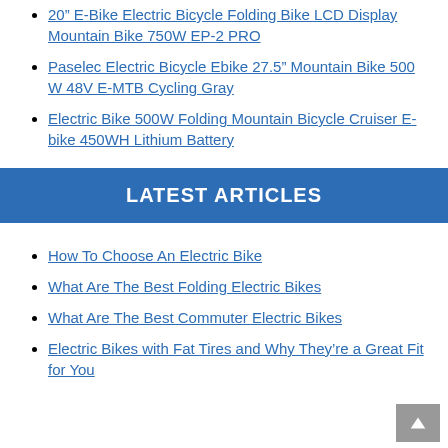20" E-Bike Electric Bicycle Folding Bike LCD Display Mountain Bike 750W EP-2 PRO
Paselec Electric Bicycle Ebike 27.5" Mountain Bike 500 W 48V E-MTB Cycling Gray
Electric Bike 500W Folding Mountain Bicycle Cruiser E-bike 450WH Lithium Battery
LATEST ARTICLES
How To Choose An Electric Bike
What Are The Best Folding Electric Bikes
What Are The Best Commuter Electric Bikes
Electric Bikes with Fat Tires and Why They're a Great Fit for You